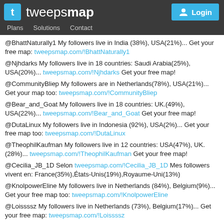tweepsmap - Plans Solutions Contact - Login
@BhattNaturally1 My followers live in India (38%), USA(21%)... Get your free map: tweepsmap.com/!BhattNaturally1
@Njhdarks My followers live in 18 countries: Saudi Arabia(25%), USA(20%)... tweepsmap.com/!Njhdarks Get your free map!
@CommunityBliep My followers are in Netherlands(78%), USA(21%)... Get your map too: tweepsmap.com/!CommunityBliep
@Bear_and_Goat My followers live in 18 countries: UK.(49%), USA(22%)... tweepsmap.com/!Bear_and_Goat Get your free map!
@DutaLinux My followers live in Indonesia (92%), USA(2%)... Get your free map too: tweepsmap.com/!DutaLinux
@TheophilKaufman My followers live in 12 countries: USA(47%), UK. (28%)... tweepsmap.com/!TheophilKaufman Get your free map!
@Cecilia_JB_1D Selon tweepsmap.com/!Cecilia_JB_1D Mes followers vivent en: France(35%),États-Unis(19%),Royaume-Uni(13%)
@KnolpowerEline My followers live in Netherlands (84%), Belgium(9%)... Get your free map too: tweepsmap.com/!KnolpowerEline
@Loissssz My followers live in Netherlands (73%), Belgium(17%)... Get your free map: tweepsmap.com/!Loissssz
@sarasks_ حسب tweepsmap.com/!sarasks_ يعيشون من متابعيني %80 حوالي في الامارات العربيه المتحده والسعوديه(%8),الكويت(%4)
@m946 My followers live in Saudi Arabia (45%), Egypt(21%)... Get your free map too: tweepsmap.com/!m946
@... My followers are in Netherlands(78%), USA(8%)... Get...